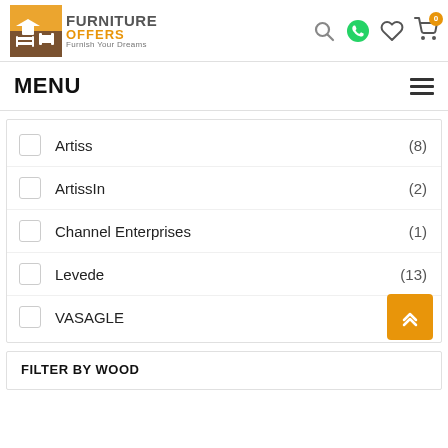Furniture Offers – Furnish Your Dreams
MENU
Artiss (8)
ArtissIn (2)
Channel Enterprises (1)
Levede (13)
VASAGLE
FILTER BY WOOD